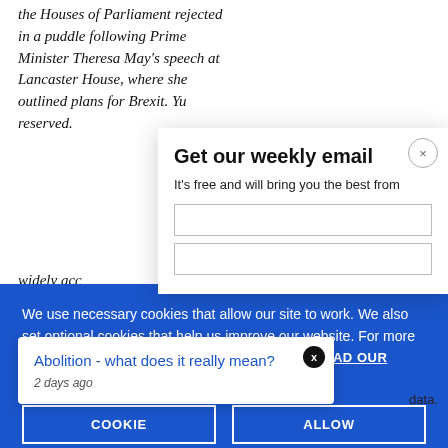the Houses of Parliament rejected in a puddle following Prime Minister Theresa May's speech at Lancaster House, where she outlined plans for Brexit. Yu reserved. widely acc
[Figure (screenshot): Email signup modal overlay: 'Get our weekly email' with close button (x) and subtitle 'It's free and will bring you the best from']
We use necessary cookies that allow our site to work. We also set optional cookies that help us improve our website. For more information about the types of cookies we use. READ OUR COOKIES POLICY HERE
COOKIE
ALLOW
S
data.
[Figure (screenshot): Popup notification card: 'Abolition - what does it really mean?' with timestamp '2 days ago' and a black X close button]
The right